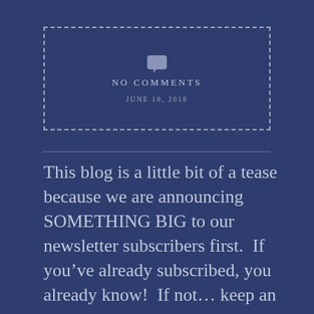NO COMMENTS
JUNE 18, 2018
This blog is a little bit of a tease because we are announcing SOMETHING BIG to our newsletter subscribers first.  If you’ve already subscribed, you already know!  If not… keep an eye on this blog and our social media TOMORROW for a SPECIAL ANNOUNCEMENT!